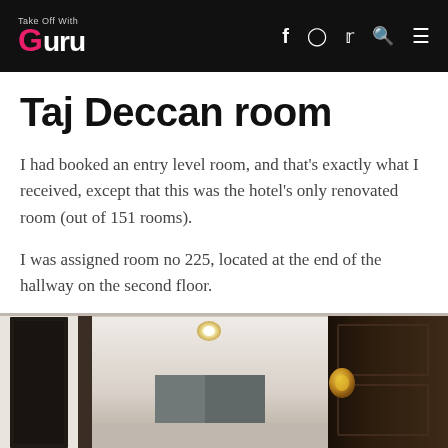Take Off With Guru
Taj Deccan room
I had booked an entry level room, and that’s exactly what I received, except that this was the hotel’s only renovated room (out of 151 rooms).
I was assigned room no 225, located at the end of the hallway on the second floor.
[Figure (photo): Interior hallway view of a hotel room entrance, showing a dark wood door on the right, a mirror/frame on the left wall, carpeted hallway leading to curtains at the back, with a ceiling light fixture visible.]